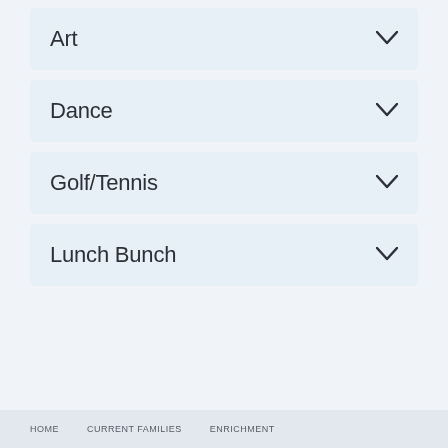Art
Dance
Golf/Tennis
Lunch Bunch
HOME   CURRENT FAMILIES   ENRICHMENT